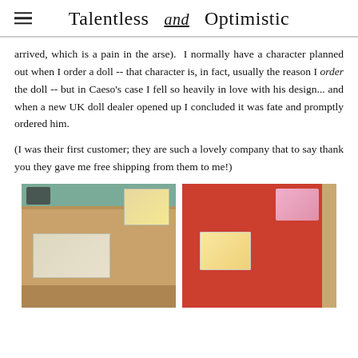Talentless and Optimistic
arrived, which is a pain in the arse). I normally have a character planned out when I order a doll -- that character is, in fact, usually the reason I order the doll -- but in Caeso's case I fell so heavily in love with his design... and when a new UK doll dealer opened up I concluded it was fate and promptly ordered him.
(I was their first customer; they are such a lovely company that to say thank you they gave me free shipping from them to me!)
[Figure (photo): Brown cardboard parcel taped up, with a small illustrated label near the top right and a larger white label in the middle, sitting on a teal/blue surface]
[Figure (photo): Red-wrapped long parcel with a small pink package on top right corner and a small illustrated sticker in the centre, on a cardboard/tan surface]